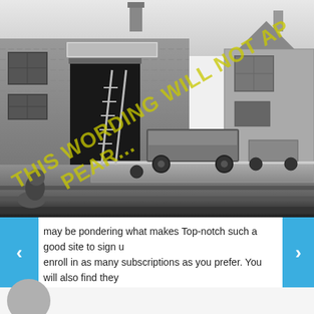[Figure (photo): Black and white historical photograph of a railway station building with a goods office/depot. A brick building with a large door opening and sign is visible on the left. A pointed-roof structure is on the right. A flat-bed rail cart/wagon sits on the tracks in the middle. Ladders lean against the left building. A person crouches in the lower left. A diagonal yellow watermark reads 'THIS WORDING WILL NOT APPEAR' across the image.]
may be pondering what makes Top-notch such a good site to sign u enroll in as many subscriptions as you prefer. You will also find they like yourself, Elite going out with review is definitely something you